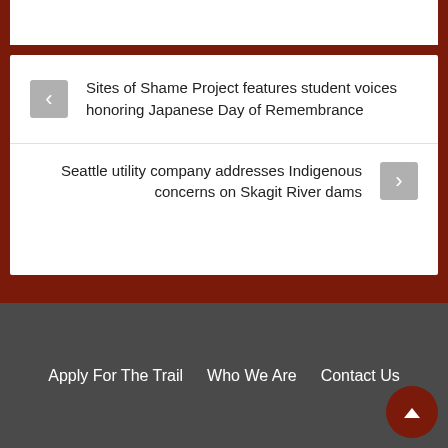Sites of Shame Project features student voices honoring Japanese Day of Remembrance
Seattle utility company addresses Indigenous concerns on Skagit River dams
Apply For The Trail   Who We Are   Contact Us